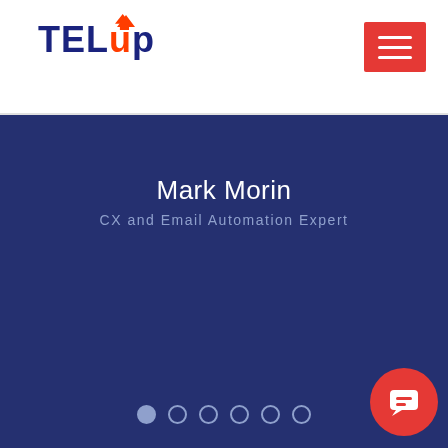[Figure (logo): TELup logo with TEL in dark navy and up in red/navy with upward arrow]
[Figure (other): Red hamburger menu button with three white horizontal lines]
Mark Morin
CX and Email Automation Expert
[Figure (other): Red circular chat/support button with speech bubble icon]
[Figure (other): Slider dot indicators: 6 dots, first one filled/active]